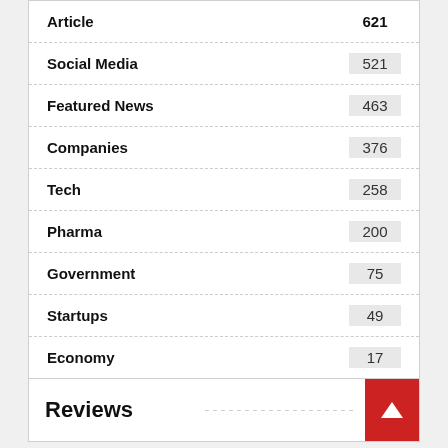Article  621
Social Media  521
Featured News  463
Companies  376
Tech  258
Pharma  200
Government  75
Startups  49
Economy  17
Reviews